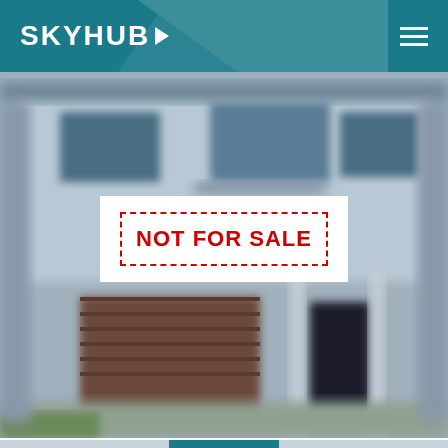SKYHUB
[Figure (photo): Blurred photograph of a modern two-story residential house with garage door, balcony, and entrance; serves as hero background image]
NOT FOR SALE